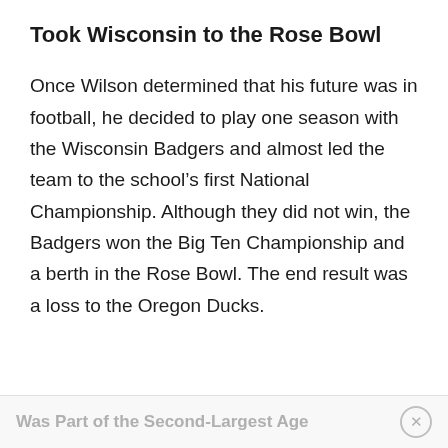Took Wisconsin to the Rose Bowl
Once Wilson determined that his future was in football, he decided to play one season with the Wisconsin Badgers and almost led the team to the school's first National Championship. Although they did not win, the Badgers won the Big Ten Championship and a berth in the Rose Bowl. The end result was a loss to the Oregon Ducks.
Was Part of the Second-Largest Age